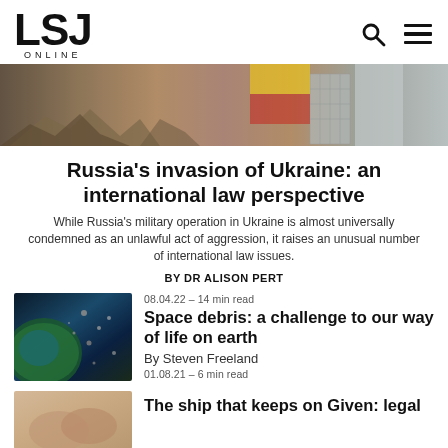LSJ ONLINE
[Figure (photo): War debris and damaged buildings, featuring Ukrainian flag colors (yellow, red), rubble in foreground and destroyed structures in background]
Russia's invasion of Ukraine: an international law perspective
While Russia's military operation in Ukraine is almost universally condemned as an unlawful act of aggression, it raises an unusual number of international law issues.
BY DR ALISON PERT
08.04.22 – 14 min read
Space debris: a challenge to our way of life on earth
[Figure (photo): Space debris orbiting Earth, showing satellites and debris against view of Earth from space]
By Steven Freeland
01.08.21 – 6 min read
The ship that keeps on Given: legal
[Figure (photo): Close-up of hands, appearing to be a legal or diplomatic context]